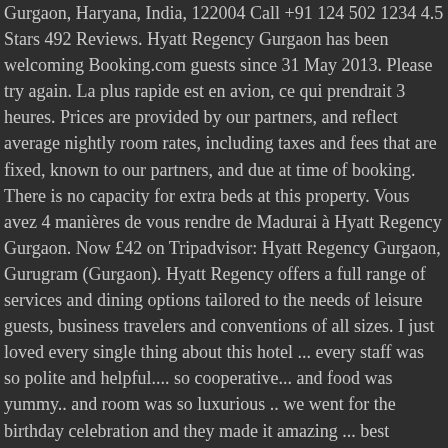Gurgaon, Haryana, India, 122004 Call +91 124 502 1234 4.5 Stars 492 Reviews. Hyatt Regency Gurgaon has been welcoming Booking.com guests since 31 May 2013. Please try again. La plus rapide est en avion, ce qui prendrait 3 heures. Prices are provided by our partners, and reflect average nightly room rates, including taxes and fees that are fixed, known to our partners, and due at time of booking. There is no capacity for extra beds at this property. Vous avez 4 manières de vous rendre de Madurai à Hyatt Regency Gurgaon. Now £42 on Tripadvisor: Hyatt Regency Gurgaon, Gurugram (Gurgaon). Hyatt Regency offers a full range of services and dining options tailored to the needs of leisure guests, business travelers and conventions of all sizes. I just loved every single thing about this hotel ... every staff was so polite and helpful.... so cooperative... and food was yummy.. and room was so luxurious .. we went for the birthday celebration and they made it amazing ... best experience till now... would love to come to this place again and again. Your business is truly valued. Dear Guest, Overall it was good experience. Réserver Hyatt Regency Gurgaon, Gurgaon sur Tripadvisor : consultez les 2 380 avis de voyageurs, 1 279 photos, et les meilleures offres pour Hyatt Regency Gurgaon, classé n°6 sur 571 hôtels à Gurgaon et noté 4.5 sur 5 sur